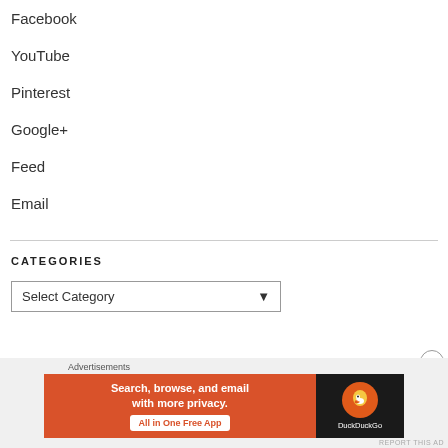Facebook
YouTube
Pinterest
Google+
Feed
Email
CATEGORIES
Select Category
[Figure (screenshot): DuckDuckGo advertisement banner: orange section with text 'Search, browse, and email with more privacy. All in One Free App' and dark section with DuckDuckGo logo]
Advertisements